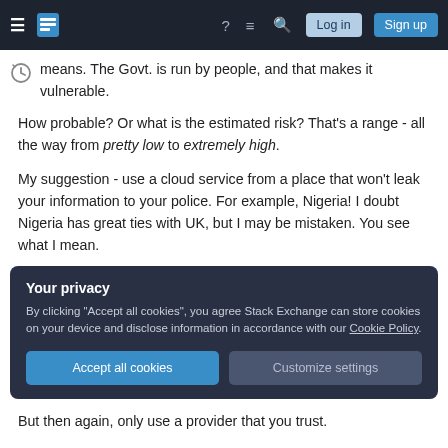Stack Exchange navigation bar with Log in and Sign up buttons
means. The Govt. is run by people, and that makes it vulnerable.
How probable? Or what is the estimated risk? That's a range - all the way from pretty low to extremely high.
My suggestion - use a cloud service from a place that won't leak your information to your police. For example, Nigeria! I doubt Nigeria has great ties with UK, but I may be mistaken. You see what I mean.
Your privacy
By clicking "Accept all cookies", you agree Stack Exchange can store cookies on your device and disclose information in accordance with our Cookie Policy.
But then again, only use a provider that you trust.